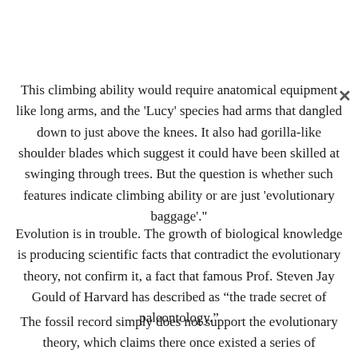This climbing ability would require anatomical equipment like long arms, and the 'Lucy' species had arms that dangled down to just above the knees. It also had gorilla-like shoulder blades which suggest it could have been skilled at swinging through trees. But the question is whether such features indicate climbing ability or are just 'evolutionary baggage'."
Evolution is in trouble. The growth of biological knowledge is producing scientific facts that contradict the evolutionary theory, not confirm it, a fact that famous Prof. Steven Jay Gould of Harvard has described as “the trade secret of paleontology.”
The fossil record simply does not support the evolutionary theory, which claims there once existed a series of successive